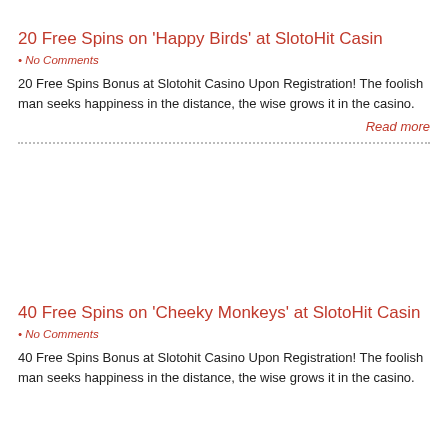20 Free Spins on ‘Happy Birds’ at SlotoHit Casin
• No Comments
20 Free Spins Bonus at Slotohit Casino Upon Registration! The foolish man seeks happiness in the distance, the wise grows it in the casino.
Read more
40 Free Spins on ‘Cheeky Monkeys’ at SlotoHit Casin
• No Comments
40 Free Spins Bonus at Slotohit Casino Upon Registration! The foolish man seeks happiness in the distance, the wise grows it in the casino.